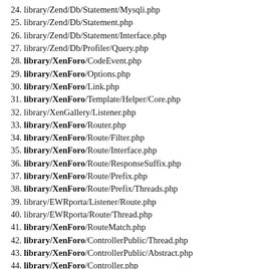24. library/Zend/Db/Statement/Mysqli.php
25. library/Zend/Db/Statement.php
26. library/Zend/Db/Statement/Interface.php
27. library/Zend/Db/Profiler/Query.php
28. library/XenForo/CodeEvent.php
29. library/XenForo/Options.php
30. library/XenForo/Link.php
31. library/XenForo/Template/Helper/Core.php
32. library/XenGallery/Listener.php
33. library/XenForo/Router.php
34. library/XenForo/Route/Filter.php
35. library/XenForo/Route/Interface.php
36. library/XenForo/Route/ResponseSuffix.php
37. library/XenForo/Route/Prefix.php
38. library/XenForo/Route/Prefix/Threads.php
39. library/EWRporta/Listener/Route.php
40. library/EWRporta/Route/Thread.php
41. library/XenForo/RouteMatch.php
42. library/XenForo/ControllerPublic/Thread.php
43. library/XenForo/ControllerPublic/Abstract.php
44. library/XenForo/Controller.php
45. library/EWRporta/Listener/Controller.php
46. library/KingK/BbCodeManager/EventListener/BbCode.php
47. library/EWRporta/ControllerPublic/Thread.php
48. library/XenForo/Input.php